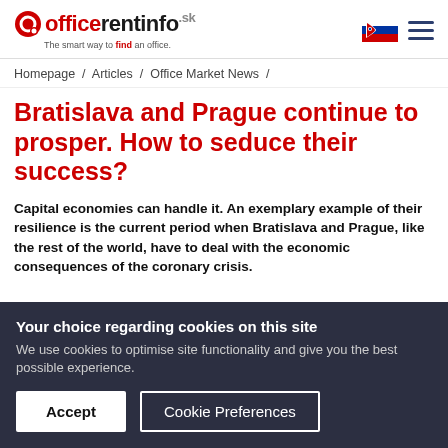officerentinfo.sk — The smart way to find an office.
Homepage / Articles / Office Market News /
Bratislava and Prague continue to prosper. How to seduce their success?
Capital economies can handle it. An exemplary example of their resilience is the current period when Bratislava and Prague, like the rest of the world, have to deal with the economic consequences of the coronary crisis.
Your choice regarding cookies on this site
We use cookies to optimise site functionality and give you the best possible experience.
Accept | Cookie Preferences